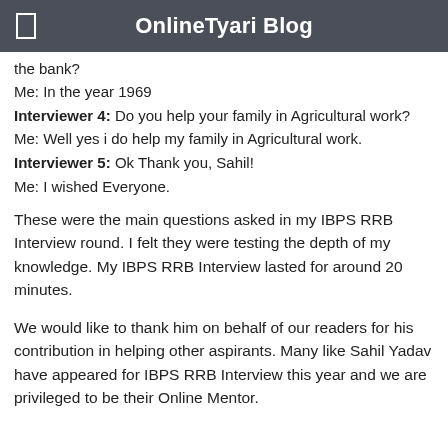OnlineTyari Blog
the bank?
Me: In the year 1969
Interviewer 4: Do you help your family in Agricultural work?
Me: Well yes i do help my family in Agricultural work.
Interviewer 5: Ok Thank you, Sahil!
Me: I wished Everyone.
These were the main questions asked in my IBPS RRB Interview round. I felt they were testing the depth of my knowledge. My IBPS RRB Interview lasted for around 20 minutes.
We would like to thank him on behalf of our readers for his contribution in helping other aspirants. Many like Sahil Yadav have appeared for IBPS RRB Interview this year and we are privileged to be their Online Mentor.